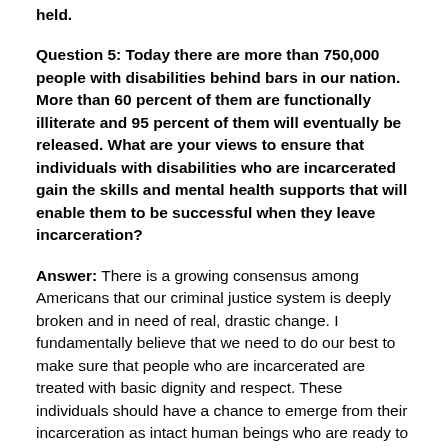held.
Question 5: Today there are more than 750,000 people with disabilities behind bars in our nation. More than 60 percent of them are functionally illiterate and 95 percent of them will eventually be released. What are your views to ensure that individuals with disabilities who are incarcerated gain the skills and mental health supports that will enable them to be successful when they leave incarceration?
Answer: There is a growing consensus among Americans that our criminal justice system is deeply broken and in need of real, drastic change. I fundamentally believe that we need to do our best to make sure that people who are incarcerated are treated with basic dignity and respect. These individuals should have a chance to emerge from their incarceration as intact human beings who are ready to come back to